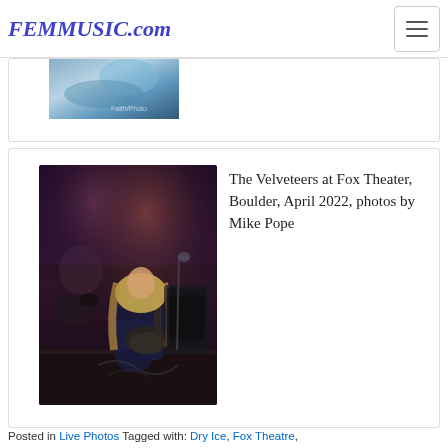FEMMUSIC.com
[Figure (photo): Partial cropped image at top of page, appears to be a blue/teal concert or album art photo]
[Figure (photo): Concert photo of The Velveteers at Fox Theater, Boulder, April 2022. Shows a blonde guitarist kneeling on stage with a drummer visible in the background. Photo by Mike Pope.]
The Velveteers at Fox Theater, Boulder, April 2022, photos by Mike Pope
Posted in Live Photos Tagged with: Dry Ice, Fox Theatre,